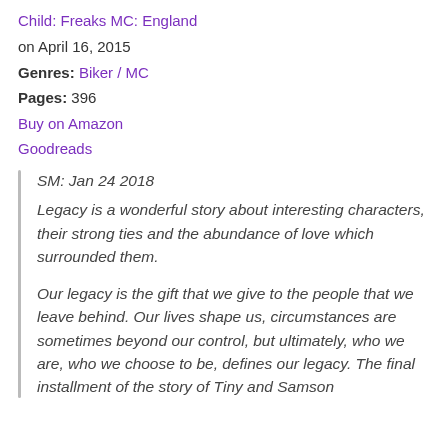Child: Freaks MC: England
on April 16, 2015
Genres: Biker / MC
Pages: 396
Buy on Amazon
Goodreads
SM: Jan 24 2018
Legacy is a wonderful story about interesting characters, their strong ties and the abundance of love which surrounded them.

Our legacy is the gift that we give to the people that we leave behind. Our lives shape us, circumstances are sometimes beyond our control, but ultimately, who we are, who we choose to be, defines our legacy. The final installment of the story of Tiny and Samson